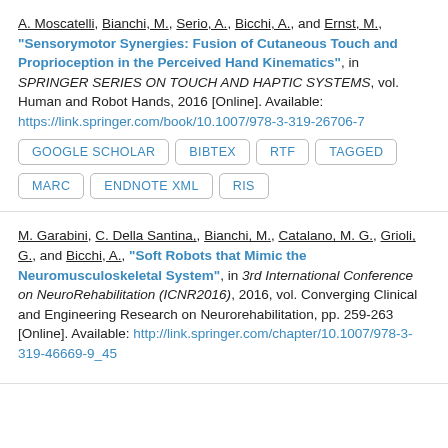A. Moscatelli, Bianchi, M., Serio, A., Bicchi, A., and Ernst, M., "Sensorymotor Synergies: Fusion of Cutaneous Touch and Proprioception in the Perceived Hand Kinematics", in SPRINGER SERIES ON TOUCH AND HAPTIC SYSTEMS, vol. Human and Robot Hands, 2016 [Online]. Available: https://link.springer.com/book/10.1007/978-3-319-26706-7
M. Garabini, C. Della Santina,, Bianchi, M., Catalano, M. G., Grioli, G., and Bicchi, A., "Soft Robots that Mimic the Neuromusculoskeletal System", in 3rd International Conference on NeuroRehabilitation (ICNR2016), 2016, vol. Converging Clinical and Engineering Research on Neurorehabilitation, pp. 259-263 [Online]. Available: http://link.springer.com/chapter/10.1007/978-3-319-46669-9_45